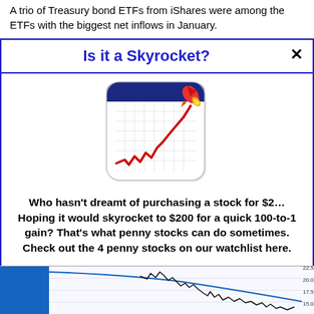A trio of Treasury bond ETFs from iShares were among the ETFs with the biggest net inflows in January.
Is it a Skyrocket?
[Figure (illustration): Skyrocket app icon: a calendar/chart grid with an upward red line chart and a red rocket in the top right corner]
Who hasn't dreamt of purchasing a stock for $2… Hoping it would skyrocket to $200 for a quick 100-to-1 gain? That's what penny stocks can do sometimes. Check out the 4 penny stocks on our watchlist here.
>>> See The List <<<
[Figure (line-chart): Partial bottom chart showing black jagged line and blue smooth curve on a grid background with y-axis labels 22.5, 20.0, 17.5, 15.0 visible on the right]